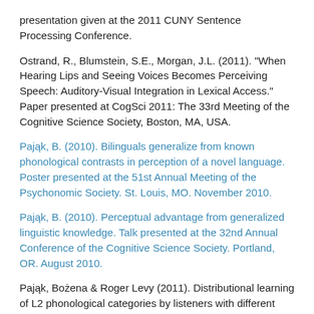presentation given at the 2011 CUNY Sentence Processing Conference.
Ostrand, R., Blumstein, S.E., Morgan, J.L. (2011). "When Hearing Lips and Seeing Voices Becomes Perceiving Speech: Auditory-Visual Integration in Lexical Access." Paper presented at CogSci 2011: The 33rd Meeting of the Cognitive Science Society, Boston, MA, USA.
Pająk, B. (2010). Bilinguals generalize from known phonological contrasts in perception of a novel language. Poster presented at the 51st Annual Meeting of the Psychonomic Society. St. Louis, MO. November 2010.
Pająk, B. (2010). Perceptual advantage from generalized linguistic knowledge. Talk presented at the 32nd Annual Conference of the Cognitive Science Society. Portland, OR. August 2010.
Pająk, Bożena & Roger Levy (2011). Distributional learning of L2 phonological categories by listeners with different